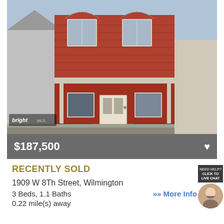[Figure (photo): Exterior photo of a two-story red brick row house with white trim windows, covered front porch, concrete steps, iron fence, and a bright mls watermark in the lower left corner]
$187,500
RECENTLY SOLD
1909 W 8Th Street, Wilmington
3 Beds, 1.1 Baths
>> More Info
0.22 mile(s) away